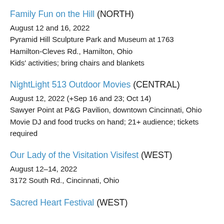Family Fun on the Hill (NORTH)
August 12 and 16, 2022
Pyramid Hill Sculpture Park and Museum at 1763 Hamilton-Cleves Rd., Hamilton, Ohio
Kids' activities; bring chairs and blankets
NightLight 513 Outdoor Movies (CENTRAL)
August 12, 2022 (+Sep 16 and 23; Oct 14)
Sawyer Point at P&G Pavilion, downtown Cincinnati, Ohio
Movie DJ and food trucks on hand; 21+ audience; tickets required
Our Lady of the Visitation Visifest (WEST)
August 12–14, 2022
3172 South Rd., Cincinnati, Ohio
Sacred Heart Festival (WEST)